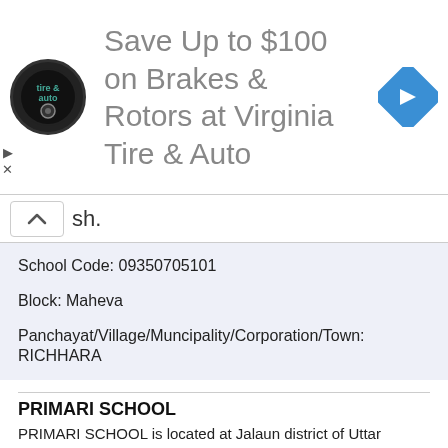[Figure (advertisement): Virginia Tire & Auto advertisement banner with logo, text 'Save Up to $100 on Brakes & Rotors at Virginia Tire & Auto', and a blue navigation arrow icon]
sh.
School Code: 09350705101
Block: Maheva
Panchayat/Village/Muncipality/Corporation/Town: RICHHARA
Rural/Urban: Rural
School Category: Primary
School Management: Department of Education
PRIMARI SCHOOL
PRIMARI SCHOOL is located at Jalaun district of Uttar Pradesh.